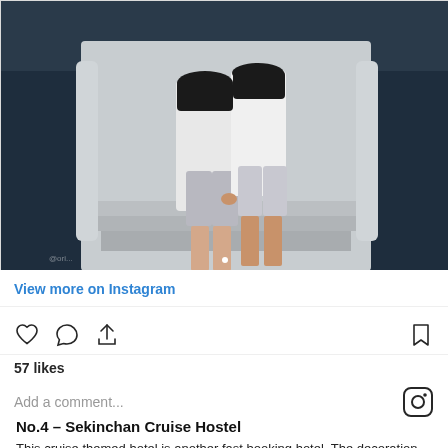[Figure (photo): Two people standing on a dock/pier holding hands, viewed from behind, wearing white tops and light shorts. Background shows water and wooden dock posts with a blue/grey tone.]
View more on Instagram
57 likes
Add a comment...
No.4 – Sekinchan Cruise Hostel
This cruise themed hotel is another fast booking hotel. The decoration and furniture brings you the old cruise feeling. A decoration inside the hotel was handcrafted by the owner. [Thai/non-Latin text line] Address [emoji] No.1, Jalan Ria, Sekinchan Business Centre,